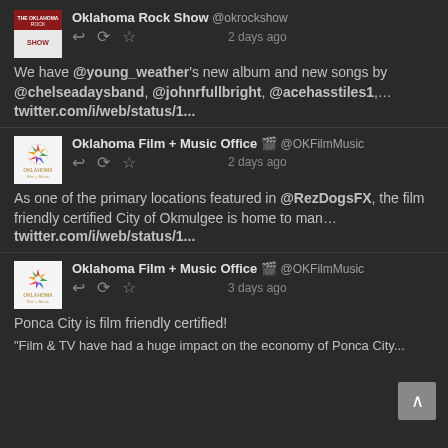[Figure (screenshot): Twitter/social media feed screenshot showing three tweets on a dark background]
Oklahoma Rock Show @okrockshow
2 days ago
We have @young_weather's new album and new songs by @chelseadaysband, @johnrfullbright, @acehasstiles1,… twitter.com/i/web/status/1...
Oklahoma Film + Music Office 🎬 @OKFilmMusic
2 days ago
As one of the primary locations featured in @RezDogsFX, the film friendly certified City of Okmulgee is home to man… twitter.com/i/web/status/1...
Oklahoma Film + Music Office 🎬 @OKFilmMusic
3 days ago
Ponca City is film friendly certified!
"Film & TV have had a huge impact on the economy of Ponca City...